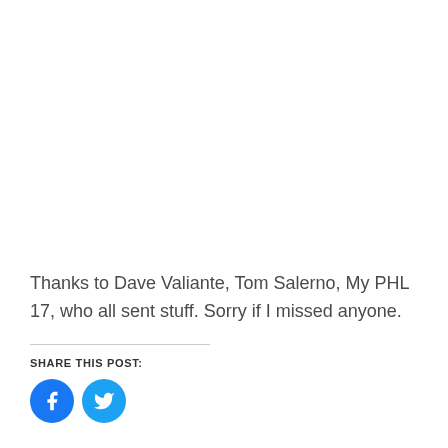Thanks to Dave Valiante, Tom Salerno, My PHL 17, who all sent stuff.  Sorry if I missed anyone.
SHARE THIS POST:
[Figure (other): Two circular social media sharing buttons: Facebook (blue circle with white 'f' icon) and Twitter (cyan circle with white bird icon)]